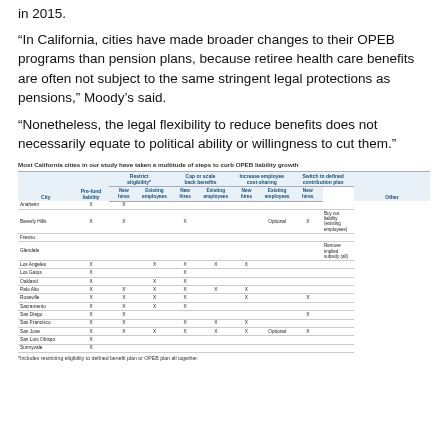in 2015.
“In California, cities have made broader changes to their OPEB programs than pension plans, because retiree health care benefits are often not subject to the same stringent legal protections as pensions,” Moody’s said.
“Nonetheless, the legal flexibility to reduce benefits does not necessarily equate to political ability or willingness to cut them.”
Most California cities in our study have taken a multitude of steps to curb OPEB liability growth
| City | Pre-fund liability | Restrict eligibility* New hires | Cap or scale back benefits Existing employees | Cap or scale back benefits New hires | Increase employee cost-sharing Existing employees | Increase employee cost-sharing New hires | Switch to defined contribution plan Existing employees | Switch to defined contribution plan New hires | Other |
| --- | --- | --- | --- | --- | --- | --- | --- | --- | --- |
| Anaheim | X | X |  |  |  |  |  |  |  |
| Beverly Hills | X | X |  | X |  |  | Optional | X | Buy out liability (existing employees) |
| Fresno |  |  |  |  |  |  |  |  |  |
| Glendale |  |  |  |  |  |  |  |  | Remove implied subsidy (all) |
| Los Angeles | X |  | X | X | X | X |  |  |  |
| Los Gatos | X |  |  | X |  |  |  |  |  |
| Oakland | X |  | X | X |  |  |  |  |  |
| Palo Alto | X | X | X | X | X | X |  |  |  |
| Roseville | X | X | X | X |  | X |  | X |  |
| Sacramento | X | X | X | X |  |  |  |  |  |
| San Diego | X | X |  |  |  |  |  | X |  |
| San Francisco | X | X |  | X | X | X |  |  |  |
| San Jose | X | X | X | X | X | X | Optional | X |  |
| San Luis Obispo | X |  |  |  |  |  |  |  |  |
| Sunnyvale | X |  |  |  |  |  |  |  |  |
*Includes restricting eligibility to defined benefit plan or OPEB plan all together.